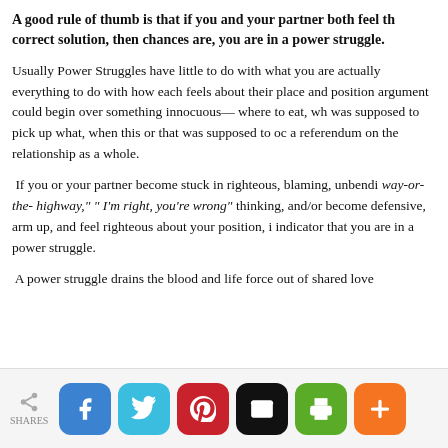A good rule of thumb is that if you and your partner both feel th correct solution, then chances are, you are in a power struggle.
Usually Power Struggles have little to do with what you are actually everything to do with how each feels about their place and position argument could begin over something innocuous— where to eat, wh was supposed to pick up what, when this or that was supposed to oc a referendum on the relationship as a whole.
If you or your partner become stuck in righteous, blaming, unbendi way-or-the- highway," " I'm right, you're wrong" thinking, and/or become defensive, arm up, and feel righteous about your position, i indicator that you are in a power struggle.
A power struggle drains the blood and life force out of shared love
SHARES — Facebook, Twitter, Pinterest, Email, Print, More